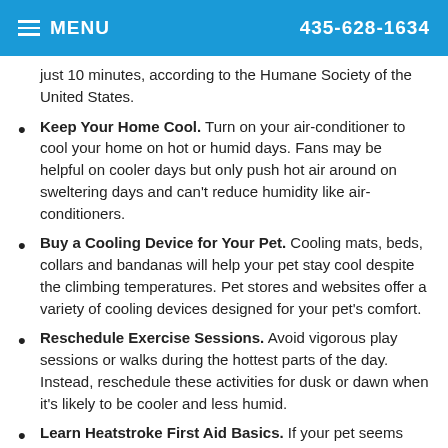MENU  435-628-1634
just 10 minutes, according to the Humane Society of the United States.
Keep Your Home Cool. Turn on your air-conditioner to cool your home on hot or humid days. Fans may be helpful on cooler days but only push hot air around on sweltering days and can't reduce humidity like air-conditioners.
Buy a Cooling Device for Your Pet. Cooling mats, beds, collars and bandanas will help your pet stay cool despite the climbing temperatures. Pet stores and websites offer a variety of cooling devices designed for your pet's comfort.
Reschedule Exercise Sessions. Avoid vigorous play sessions or walks during the hottest parts of the day. Instead, reschedule these activities for dusk or dawn when it's likely to be cooler and less humid.
Learn Heatstroke First Aid Basics. If your pet seems uncomfortable outdoors or is showing any signs of heatstroke, bring it... et towels